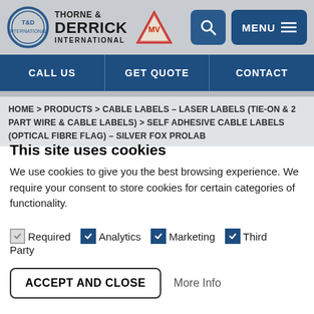[Figure (logo): Thorne & Derrick International logo with T&D circle and MV triangle, plus search and menu buttons]
CALL US | GET QUOTE | CONTACT
HOME > PRODUCTS > CABLE LABELS – LASER LABELS (TIE-ON & 2 PART WIRE & CABLE LABELS) > SELF ADHESIVE CABLE LABELS (OPTICAL FIBRE FLAG) – SILVER FOX PROLAB
This site uses cookies
We use cookies to give you the best browsing experience. We require your consent to store cookies for certain categories of functionality.
Required  Analytics  Marketing  Third Party
ACCEPT AND CLOSE   More Info